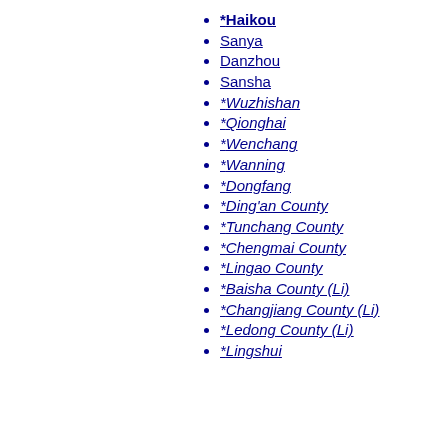Hainan
*Haikou
Sanya
Danzhou
Sansha
*Wuzhishan
*Qionghai
*Wenchang
*Wanning
*Dongfang
*Ding'an County
*Tunchang County
*Chengmai County
*Lingao County
*Baisha County (Li)
*Changjiang County (Li)
*Ledong County (Li)
*Lingshui